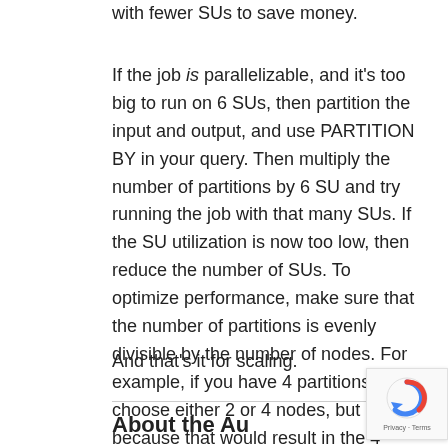with fewer SUs to save money.
If the job is parallelizable, and it's too big to run on 6 SUs, then partition the input and output, and use PARTITION BY in your query. Then multiply the number of partitions by 6 SU and try running the job with that many SUs. If the SU utilization is now too low, then reduce the number of SUs. To optimize performance, make sure that the number of partitions is evenly divisible by the number of nodes. For example, if you have 4 partitions, then choose either 2 or 4 nodes, but not 3, because that would result in the 4 partitions being unevenly split across 3 nodes.
And that's it for scaling.
About the Au...